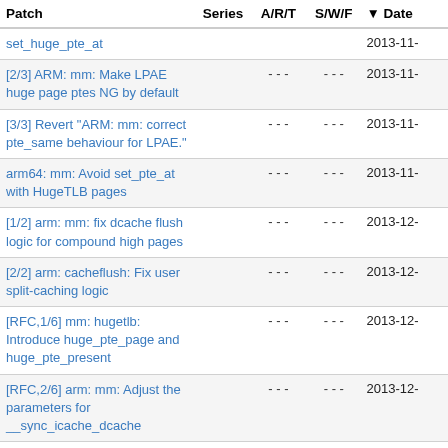| Patch | Series | A/R/T | S/W/F | Date |
| --- | --- | --- | --- | --- |
| set_huge_pte_at |  |  |  | 2013-11- |
| [2/3] ARM: mm: Make LPAE huge page ptes NG by default |  | - - - | - - - | 2013-11- |
| [3/3] Revert "ARM: mm: correct pte_same behaviour for LPAE." |  | - - - | - - - | 2013-11- |
| arm64: mm: Avoid set_pte_at with HugeTLB pages |  | - - - | - - - | 2013-11- |
| [1/2] arm: mm: fix dcache flush logic for compound high pages |  | - - - | - - - | 2013-12- |
| [2/2] arm: cacheflush: Fix user split-caching logic |  | - - - | - - - | 2013-12- |
| [RFC,1/6] mm: hugetlb: Introduce huge_pte_page and huge_pte_present |  | - - - | - - - | 2013-12- |
| [RFC,2/6] arm: mm: Adjust the parameters for __sync_icache_dcache |  | - - - | - - - | 2013-12- |
| [RFC,3/6] arm: mm: Make mmu_gather aware of huge pages |  | - - - | - - - | 2013-12- |